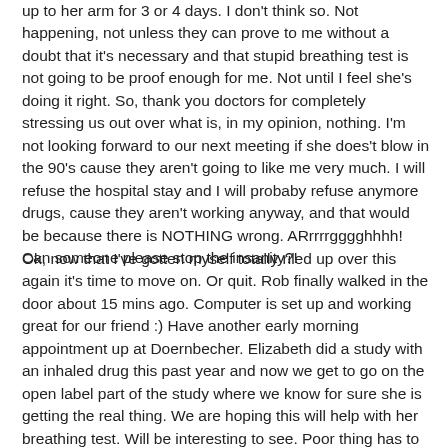up to her arm for 3 or 4 days. I don't think so. Not happening, not unless they can prove to me without a doubt that it's necessary and that stupid breathing test is not going to be proof enough for me. Not until I feel she's doing it right. So, thank you doctors for completely stressing us out over what is, in my opinion, nothing. I'm not looking forward to our next meeting if she does't blow in the 90's cause they aren't going to like me very much. I will refuse the hospital stay and I will probaby refuse anymore drugs, cause they aren't working anyway, and that would be because there is NOTHING wrong. ARrrrrgggghhhh! Can someone please stop the insanity?!
Ok, now that I've gotten myself totally riled up over this again it's time to move on. Or quit. Rob finally walked in the door about 15 mins ago. Computer is set up and working great for our friend :) Have another early morning appointment up at Doernbecher. Elizabeth did a study with an inhaled drug this past year and now we get to go on the open label part of the study where we know for sure she is getting the real thing. We are hoping this will help with her breathing test. Will be interesting to see. Poor thing has to have a blood draw, she